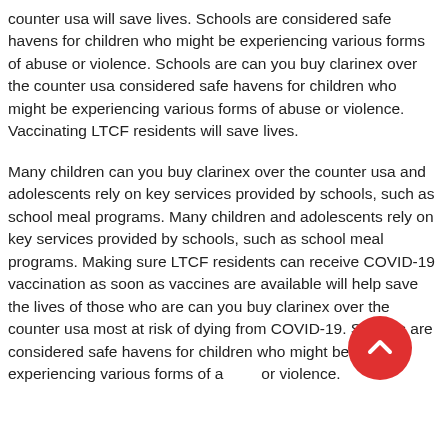counter usa will save lives. Schools are considered safe havens for children who might be experiencing various forms of abuse or violence. Schools are can you buy clarinex over the counter usa considered safe havens for children who might be experiencing various forms of abuse or violence. Vaccinating LTCF residents will save lives.
Many children can you buy clarinex over the counter usa and adolescents rely on key services provided by schools, such as school meal programs. Many children and adolescents rely on key services provided by schools, such as school meal programs. Making sure LTCF residents can receive COVID-19 vaccination as soon as vaccines are available will help save the lives of those who are can you buy clarinex over the counter usa most at risk of dying from COVID-19. Schools are considered safe havens for children who might be experiencing various forms of abuse or violence.
[Figure (other): Red circular scroll-to-top button with an upward chevron arrow icon, positioned in the lower-right area of the page.]